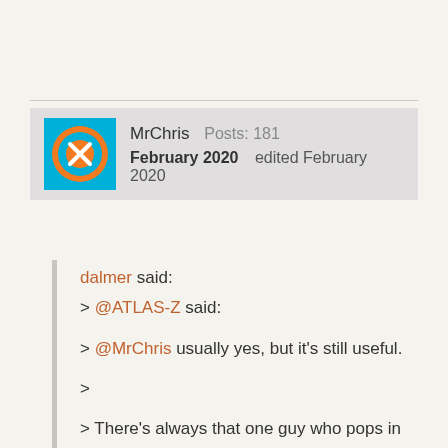[Figure (logo): Blue square avatar with orange circle and white crossed-out figure icon]
MrChris  Posts: 181
February 2020   edited February 2020
dalmer said:
> @ATLAS-Z said:

> @MrChris usually yes, but it's still useful.

>

> There's always that one guy who pops in "hey I've got x attacks left" when you thought everyone was spent.

>

> Point is, it's useful. And it's been the most requested basic feature other than "can we play